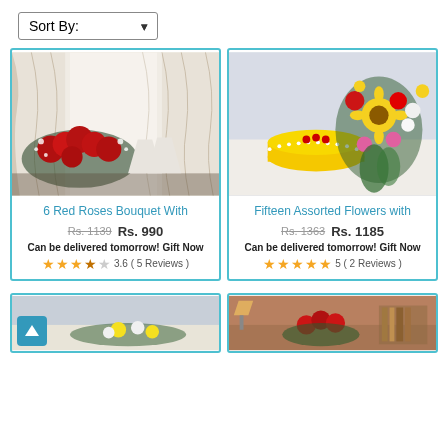Sort By:
[Figure (photo): 6 Red Roses bouquet with white baby's breath on a table with curtains in the background]
6 Red Roses Bouquet With
Rs. 1139  Rs. 990
Can be delivered tomorrow! Gift Now
3.6 ( 5 Reviews )
[Figure (photo): Fifteen assorted flowers bouquet with a yellow pineapple cake, featuring sunflowers, red gerberas, and white carnations]
Fifteen Assorted Flowers with
Rs. 1363  Rs. 1185
Can be delivered tomorrow! Gift Now
5 ( 2 Reviews )
[Figure (photo): Partially visible bottom-left product card showing yellow and white flowers]
[Figure (photo): Partially visible bottom-right product card showing red roses in room setting]